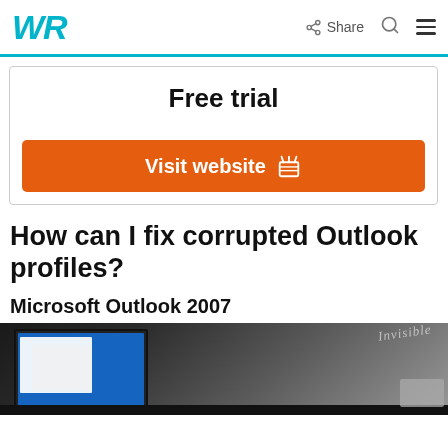WR | Share | Search | Menu
Free trial
Visit website
How can I fix corrupted Outlook profiles?
Microsoft Outlook 2007
[Figure (photo): Photo of a laptop computer displaying a blue screen with papers, on a wooden desk background]